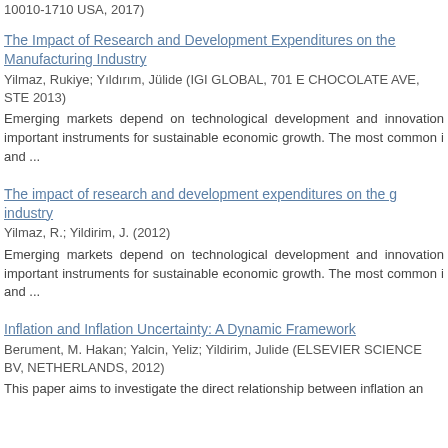10010-1710 USA, 2017)
The Impact of Research and Development Expenditures on the Manufacturing Industry
Yilmaz, Rukiye; Yıldırım, Jülide (IGI GLOBAL, 701 E CHOCOLATE AVE, STE 2013)
Emerging markets depend on technological development and innovation important instruments for sustainable economic growth. The most common i and ...
The impact of research and development expenditures on the g industry
Yilmaz, R.; Yildirim, J. (2012)
Emerging markets depend on technological development and innovation important instruments for sustainable economic growth. The most common i and ...
Inflation and Inflation Uncertainty: A Dynamic Framework
Berument, M. Hakan; Yalcin, Yeliz; Yildirim, Julide (ELSEVIER SCIENCE BV, NETHERLANDS, 2012)
This paper aims to investigate the direct relationship between inflation an